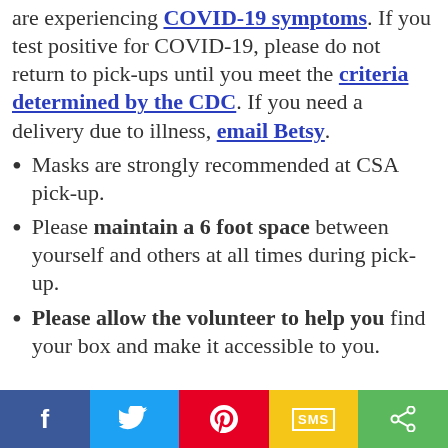are experiencing COVID-19 symptoms. If you test positive for COVID-19, please do not return to pick-ups until you meet the criteria determined by the CDC. If you need a delivery due to illness, email Betsy.
Masks are strongly recommended at CSA pick-up.
Please maintain a 6 foot space between yourself and others at all times during pick-up.
Please allow the volunteer to help you find your box and make it accessible to you.
[Figure (infographic): Social sharing bar with five buttons: Facebook (blue), Twitter (light blue), Pinterest (red), SMS (yellow), Share (green)]